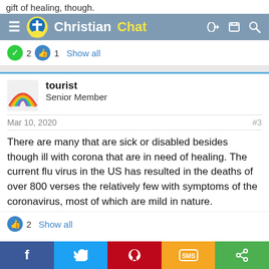gift of healing, though.
ChristianChat navigation bar
✓ 2  👍 1  Show all
tourist
Senior Member
Mar 10, 2020  #3
There are many that are sick or disabled besides though ill with corona that are in need of healing. The current flu virus in the US has resulted in the deaths of over 800 verses the relatively few with symptoms of the coronavirus, most of which are mild in nature.
👍 2  Show all
Facebook  Twitter  Pinterest  SMS  Share